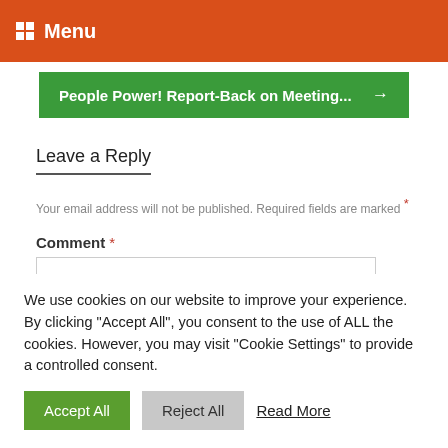Menu
People Power! Report-Back on Meeting... →
Leave a Reply
Your email address will not be published. Required fields are marked *
Comment *
We use cookies on our website to improve your experience. By clicking "Accept All", you consent to the use of ALL the cookies. However, you may visit "Cookie Settings" to provide a controlled consent.
Accept All  Reject All  Read More